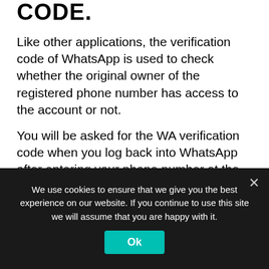CODE.
Like other applications, the verification code of WhatsApp is used to check whether the original owner of the registered phone number has access to the account or not.
You will be asked for the WA verification code when you log back into WhatsApp after entering your phone number at the start.
To get a 6-digit verification PIN, WhatsApp offers only two options: SMS and phone calls.
There are other requirements to get a WhatsApp verification code when you register an account
We use cookies to ensure that we give you the best experience on our website. If you continue to use this site we will assume that you are happy with it.